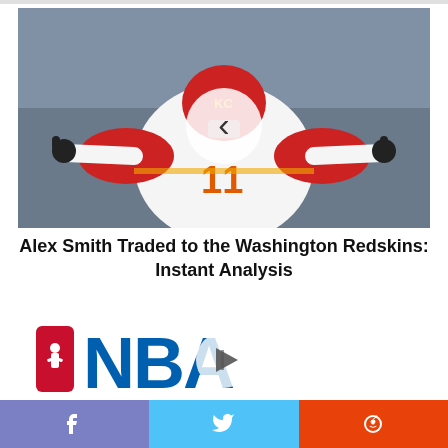[Figure (photo): NFL quarterback Alex Smith wearing Kansas City Chiefs number 11 jersey with arms outstretched and thumbs up, celebrating on the field. A circular back-navigation arrow overlay is centered on the image.]
Alex Smith Traded to the Washington Redskins: Instant Analysis
[Figure (logo): NBA logo in red, white and blue with large blue NBA letters. A circular play button overlay is centered on the image.]
[Figure (other): Social sharing bar with Facebook (purple-blue), Twitter (light blue), and Reddit (orange-red) buttons at the bottom of the page.]